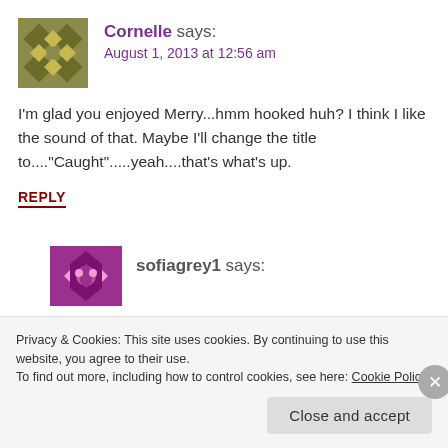[Figure (illustration): Gravatar avatar for Cornelle - olive/brown geometric tile pattern with diamond shapes]
Cornelle says:
August 1, 2013 at 12:56 am
I'm glad you enjoyed Merry...hmm hooked huh? I think I like the sound of that. Maybe I'll change the title to...."Caught".....yeah....that's what's up.
REPLY
[Figure (illustration): Gravatar avatar for sofiagrey1 - purple/magenta geometric pattern]
sofiagrey1 says:
Privacy & Cookies: This site uses cookies. By continuing to use this website, you agree to their use.
To find out more, including how to control cookies, see here: Cookie Policy
Close and accept